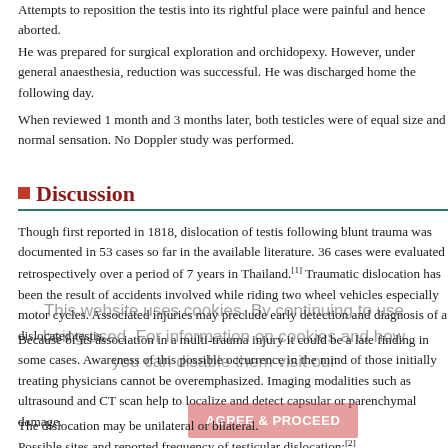Attempts to reposition the testis into its rightful place were painful and hence aborted.
He was prepared for surgical exploration and orchidopexy. However, under general anaesthesia, reduction was successful. He was discharged home the following day.
When reviewed 1 month and 3 months later, both testicles were of equal size and normal sensation. No Doppler study was performed.
Discussion
Though first reported in 1818, dislocation of testis following blunt trauma was documented in 53 cases so far in the available literature. 36 cases were evaluated retrospectively over a period of 7 years in Thailand.[1] Traumatic dislocation has been the result of accidents involved while riding two wheel vehicles especially motor cycles. Associated injuries may preclude early detection and diagnosis of a dislocated testis.
Because of its association in a multi-trauma injury it could be a late finding in some cases. Awareness of this possible occurrence in the mind of those initially treating physicians cannot be overemphasized. Imaging modalities such as ultrasound and CT scan help to localize and detect capsular or parenchymal damage.
The dislocation may be unilateral or bilateral.
Possible sites and reported frequency of testicular dislocation:[2]